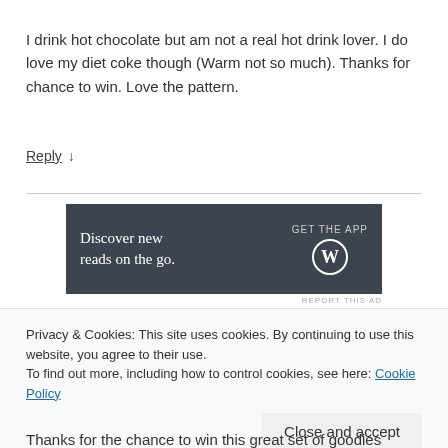I drink hot chocolate but am not a real hot drink lover. I do love my diet coke though (Warm not so much). Thanks for chance to win. Love the pattern.
Reply ↓
[Figure (other): WordPress advertisement banner: dark background with text 'Discover new reads on the go.' and 'GET THE APP' with WordPress logo]
REPORT THIS AD
Privacy & Cookies: This site uses cookies. By continuing to use this website, you agree to their use.
To find out more, including how to control cookies, see here: Cookie Policy
Close and accept
Thanks for the chance to win this great set of goodies